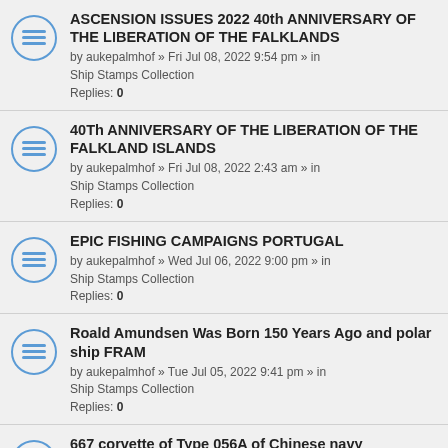ASCENSION ISSUES 2022 40th ANNIVERSARY OF THE LIBERATION OF THE FALKLANDS
by aukepalmhof » Fri Jul 08, 2022 9:54 pm » in Ship Stamps Collection
Replies: 0
40Th ANNIVERSARY OF THE LIBERATION OF THE FALKLAND ISLANDS
by aukepalmhof » Fri Jul 08, 2022 2:43 am » in Ship Stamps Collection
Replies: 0
EPIC FISHING CAMPAIGNS PORTUGAL
by aukepalmhof » Wed Jul 06, 2022 9:00 pm » in Ship Stamps Collection
Replies: 0
Roald Amundsen Was Born 150 Years Ago and polar ship FRAM
by aukepalmhof » Tue Jul 05, 2022 9:41 pm » in Ship Stamps Collection
Replies: 0
667 corvette of Type 056A of Chinese navy
by aukepalmhof » Mon Jul 04, 2022 9:05 pm » in Ship Stamps Collection